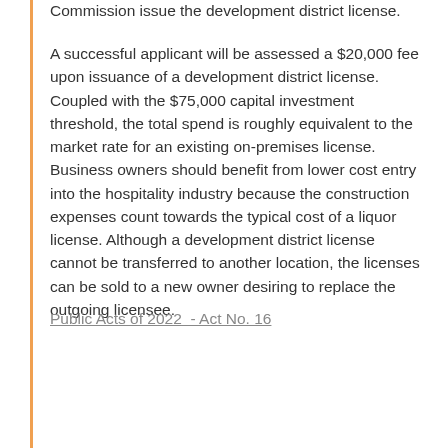Commission issue the development district license.
A successful applicant will be assessed a $20,000 fee upon issuance of a development district license. Coupled with the $75,000 capital investment threshold, the total spend is roughly equivalent to the market rate for an existing on-premises license. Business owners should benefit from lower cost entry into the hospitality industry because the construction expenses count towards the typical cost of a liquor license. Although a development district license cannot be transferred to another location, the licenses can be sold to a new owner desiring to replace the outgoing licensee.
Public Acts of 2022  - Act No. 16